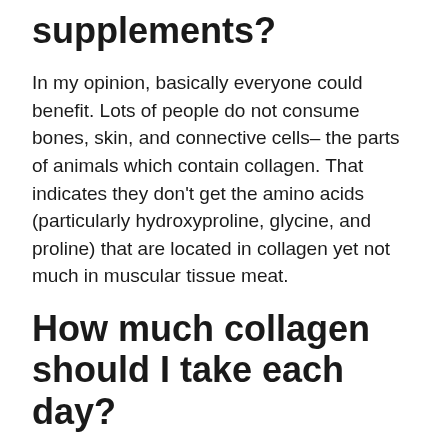supplements?
In my opinion, basically everyone could benefit. Lots of people do not consume bones, skin, and connective cells– the parts of animals which contain collagen. That indicates they don't get the amino acids (particularly hydroxyproline, glycine, and proline) that are located in collagen yet not much in muscular tissue meat.
How much collagen should I take each day?
There is no RDA for collagen, and to my knowledge, no researches have developed ideal application guidelines. You may require